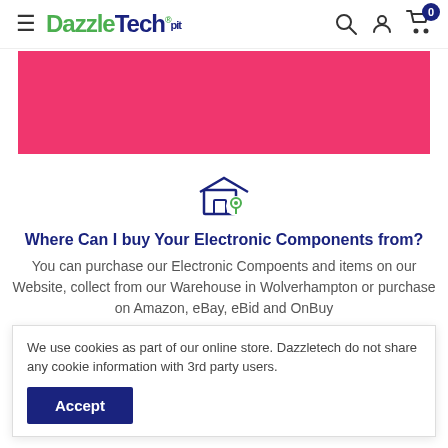DazzleTech Ltd — Navigation bar with hamburger menu, search, account, and cart icons
[Figure (illustration): Pink/hot-pink promotional banner rectangle]
[Figure (illustration): Store location pin icon — outline of a shop with a green location pin badge]
Where Can I buy Your Electronic Components from?
You can purchase our Electronic Compoents and items on our Website, collect from our Warehouse in Wolverhampton or purchase on Amazon, eBay, eBid and OnBuy
We use cookies as part of our online store. Dazzletech do not share any cookie information with 3rd party users.
Accept
All Dazzletech online electronic components and other products are